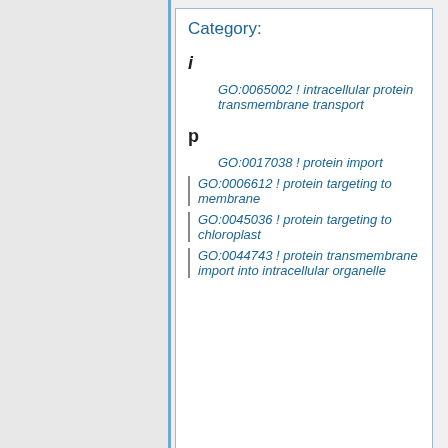Category:
i
GO:0065002 ! intracellular protein transmembrane transport
p
GO:0017038 ! protein import
GO:0006612 ! protein targeting to membrane
GO:0045036 ! protein targeting to chloroplast
GO:0044743 ! protein transmembrane import into intracellular organelle
This page was last edited on 21 March 2022, at 06:14.
Content is available under unless otherwise noted.
Privacy policy · About GONUTS · Disclaimers